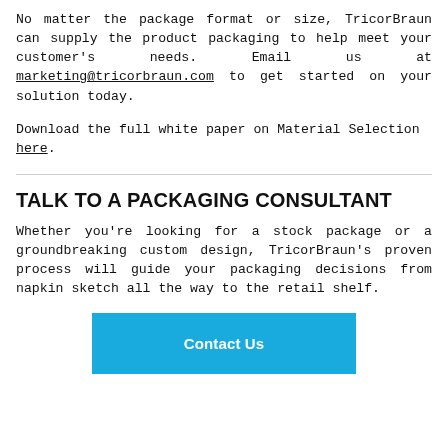No matter the package format or size, TricorBraun can supply the product packaging to help meet your customer's needs. Email us at marketing@tricorbraun.com to get started on your solution today.
Download the full white paper on Material Selection here.
TALK TO A PACKAGING CONSULTANT
Whether you're looking for a stock package or a groundbreaking custom design, TricorBraun's proven process will guide your packaging decisions from napkin sketch all the way to the retail shelf.
[Figure (other): Blue 'Contact Us' button]